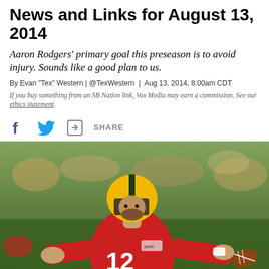News and Links for August 13, 2014
Aaron Rodgers' primary goal this preseason is to avoid injury. Sounds like a good plan to us.
By Evan "Tex" Western | @TexWestern | Aug 13, 2014, 8:00am CDT
If you buy something from an SB Nation link, Vox Media may earn a commission. See our ethics statement.
[Figure (other): Share bar with Facebook icon, Twitter bird icon, and share icon with text SHARE]
[Figure (photo): Aaron Rodgers wearing number 12 red jersey and green/gold helmet, arms outstretched holding a football, at what appears to be a Green Bay Packers preseason practice with crowd in background]